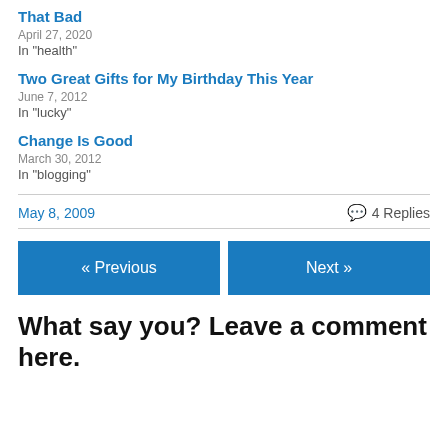That Bad
April 27, 2020
In "health"
Two Great Gifts for My Birthday This Year
June 7, 2012
In "lucky"
Change Is Good
March 30, 2012
In "blogging"
May 8, 2009
4 Replies
« Previous
Next »
What say you? Leave a comment here.